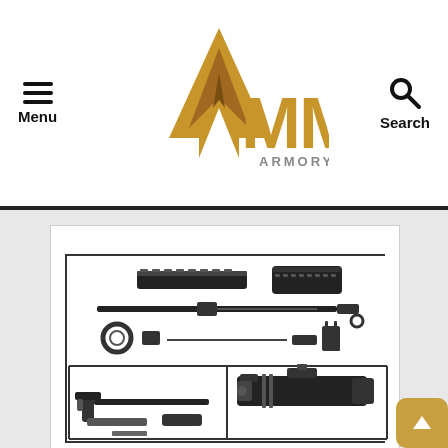Menu | MMC Armory | Search
[Figure (photo): Product photo showing AR-15 upper parts kit components including handguard, barrel, bolt carrier group, charging handle, and accessories laid out on white background]
Davidson Defense DIY 16" AR-15 5.56 NATO